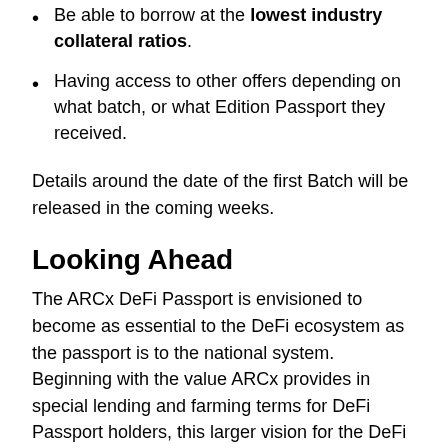Be able to borrow at the lowest industry collateral ratios.
Having access to other offers depending on what batch, or what Edition Passport they received.
Details around the date of the first Batch will be released in the coming weeks.
Looking Ahead
The ARCx DeFi Passport is envisioned to become as essential to the DeFi ecosystem as the passport is to the national system. Beginning with the value ARCx provides in special lending and farming terms for DeFi Passport holders, this larger vision for the DeFi passport is readily delivered through a positive feedback loop in user experience: